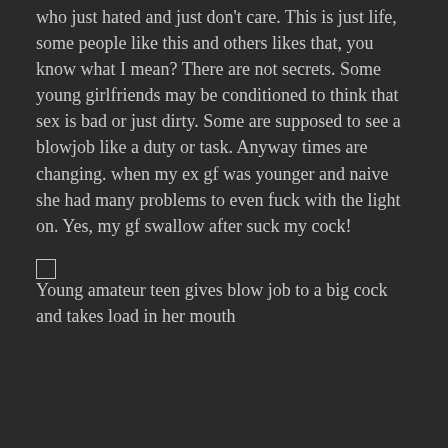who just hated and just don't care. This is just life, some people like this and others likes that, you know what I mean? There are not secrets. Some young girlfriends may be conditioned to think that sex is bad or just dirty. Some are supposed to see a blowjob like a duty or task. Anyway times are changing. when my ex gf was younger and naive she had many problems to even fuck with the light on. Yes, my gf swallow after suck my cock!
[Figure (photo): Broken image placeholder with alt text: Young amateur teen gives blow job to a big cock and takes load in her mouth]